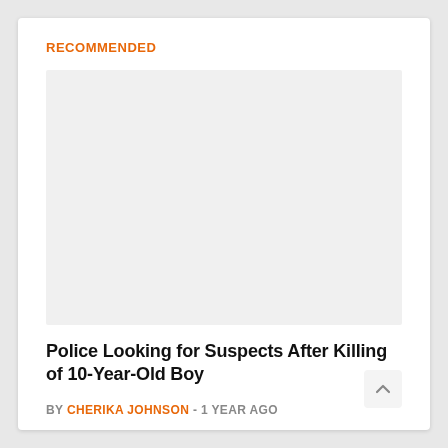RECOMMENDED
[Figure (photo): Placeholder image area for article thumbnail]
Police Looking for Suspects After Killing of 10-Year-Old Boy
BY CHERIKA JOHNSON - 1 YEAR AGO